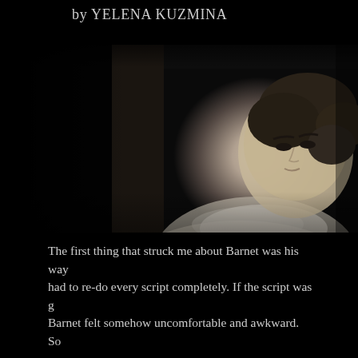by YELENA KUZMINA
[Figure (photo): Black and white film still photograph of a young woman with braided hair pinned up, wearing a light floral blouse with a ruffled collar, looking over her shoulder. The background is dark with some architectural elements visible.]
The first thing that struck me about Barnet was his way... had to re-do every script completely. If the script was g... Barnet felt somehow uncomfortable and awkward. So...